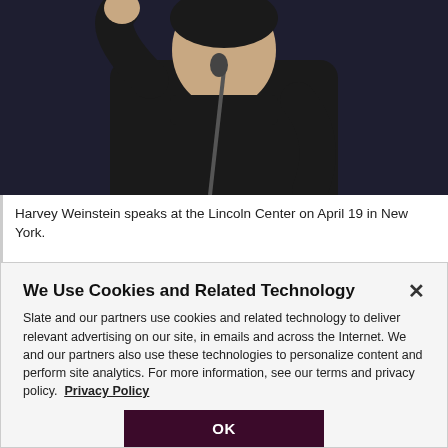[Figure (photo): A person in dark clothing speaking at a microphone with hand raised, photographed against a dark background. The photo is cropped to show the upper body.]
Harvey Weinstein speaks at the Lincoln Center on April 19 in New York.
We Use Cookies and Related Technology
Slate and our partners use cookies and related technology to deliver relevant advertising on our site, in emails and across the Internet. We and our partners also use these technologies to personalize content and perform site analytics. For more information, see our terms and privacy policy.  Privacy Policy
OK